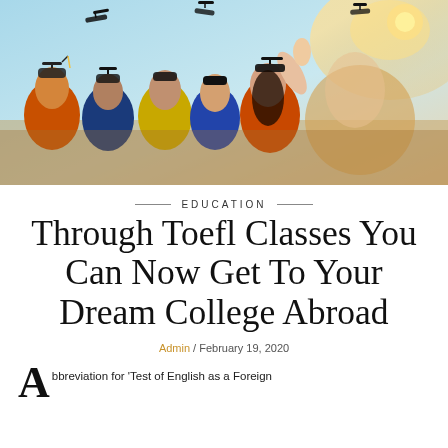[Figure (photo): Graduation ceremony photo showing students in academic regalia (orange, blue, yellow gowns) viewed from behind, tossing caps in the air against a sunny sky backdrop]
EDUCATION
Through Toefl Classes You Can Now Get To Your Dream College Abroad
Admin / February 19, 2020
bbreviation for 'Test of English as a Foreign